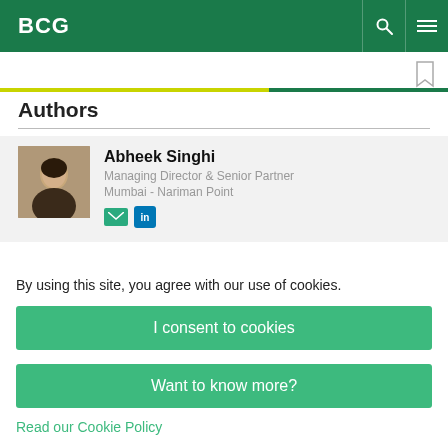BCG
Authors
Abheek Singhi
Managing Director & Senior Partner
Mumbai - Nariman Point
By using this site, you agree with our use of cookies.
I consent to cookies
Want to know more?
Read our Cookie Policy